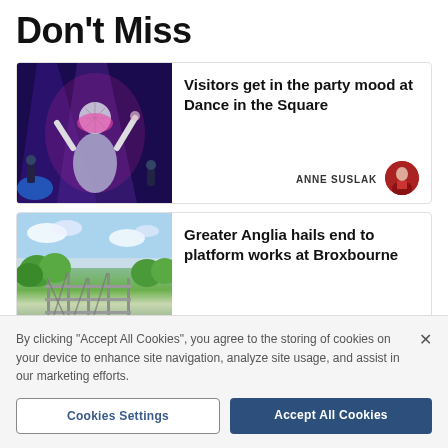Don't Miss
[Figure (photo): Concert performer with pink wig and disco ball head prop on stage with blue lighting]
Visitors get in the party mood at Dance in the Square
ANNE SUSLAK
[Figure (photo): Aerial view of railway platform construction works at Broxbourne with trees and scaffolding]
Greater Anglia hails end to platform works at Broxbourne
By clicking “Accept All Cookies”, you agree to the storing of cookies on your device to enhance site navigation, analyze site usage, and assist in our marketing efforts.
Cookies Settings
Accept All Cookies